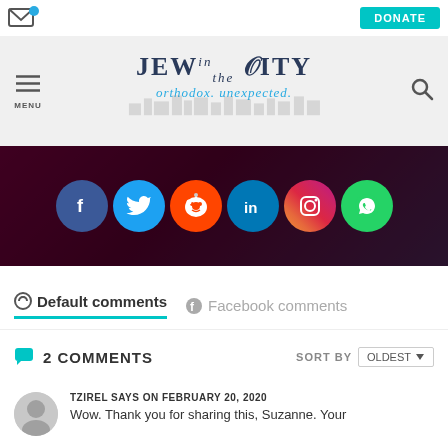Jew in the City — orthodox. unexpected.
[Figure (screenshot): Social media share buttons: Facebook, Twitter, Reddit, LinkedIn, Instagram, WhatsApp on dark maroon background]
Default comments | Facebook comments
2 COMMENTS   SORT BY  OLDEST
TZIREL SAYS ON FEBRUARY 20, 2020
Wow. Thank you for sharing this, Suzanne. Your